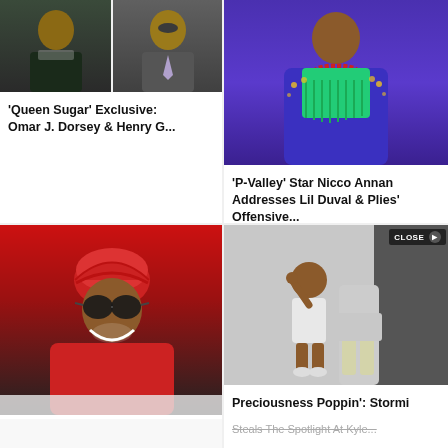[Figure (photo): Two men side by side: a younger Black man in dark jacket on the left, an older man in suit with lavender tie on the right]
'Queen Sugar' Exclusive: Omar J. Dorsey & Henry G...
[Figure (photo): Black man in blue sequined jacket with green fringe top and red beaded necklace]
'P-Valley' Star Nicco Annan Addresses Lil Duval & Plies' Offensive...
[Figure (photo): Man wearing red turban and round sunglasses, smiling]
[Figure (photo): Young girl in white silver outfit with fist raised, and adult legs in silver skirt beside her]
Preciousness Poppin': Stormi Steals The Spotlight At Kyle...